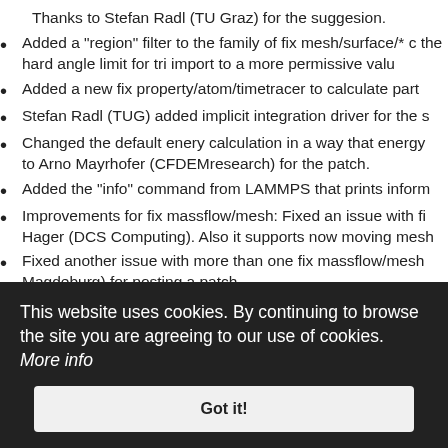Thanks to Stefan Radl (TU Graz) for the suggesion.
Added a "region" filter to the family of fix mesh/surface/* c the hard angle limit for tri import to a more permissive valu
Added a new fix property/atom/timetracer to calculate part
Stefan Radl (TUG) added implicit integration driver for the s
Changed the default enery calculation in a way that energy to Arno Mayrhofer (CFDEMresearch) for the patch.
Added the "info" command from LAMMPS that prints inform
Improvements for fix massflow/mesh: Fixed an issue with fi Hager (DCS Computing). Also it supports now moving mesh
Fixed another issue with more than one fix massflow/mesh Magdeburg) for posting a patch.
Fixed a rare particle-triangle contact detection issue. Thank
Fixed a small memory leak in dump mesh/vtk when using in
This website uses cookies. By continuing to browse the site you are agreeing to our use of cookies. More info
Got it!